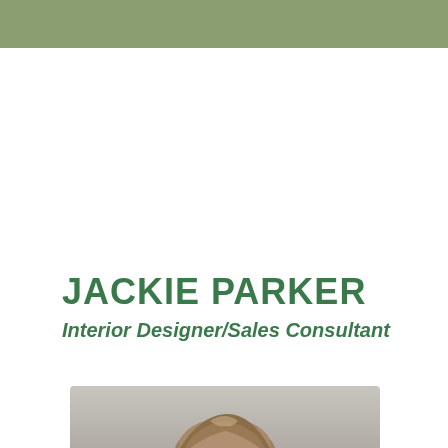JACKIE PARKER
Interior Designer/Sales Consultant
[Figure (photo): Portrait photo of Jackie Parker, a woman with light brown/blonde hair, shown from shoulders up against a neutral grey background]